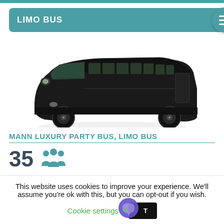LIMO BUS
[Figure (photo): A large black luxury limo bus / party bus shown from the side-front angle on a white background]
MANN LUXURY PARTY BUS, LIMO BUS
35 [people icon]
This website uses cookies to improve your experience. We'll assume you're ok with this, but you can opt-out if you wish.
Cookie settings
ACCEPT